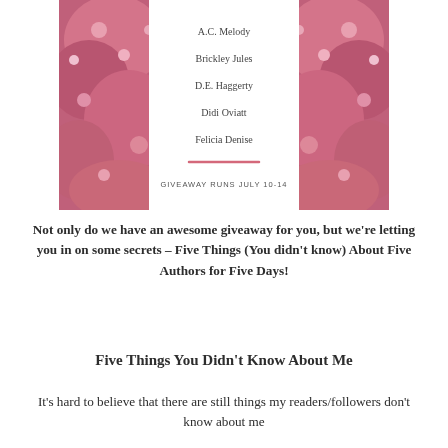[Figure (illustration): Promotional banner with pink blossoming flowers framing a white center panel listing five author names: A.C. Melody, Brickley Jules, D.E. Haggerty, Didi Oviatt, Felicia Denise, with a pink horizontal rule and text 'GIVEAWAY RUNS JULY 10-14']
Not only do we have an awesome giveaway for you, but we're letting you in on some secrets – Five Things (You didn't know) About Five Authors for Five Days!
Five Things You Didn't Know About Me
It's hard to believe that there are still things my readers/followers don't know about me